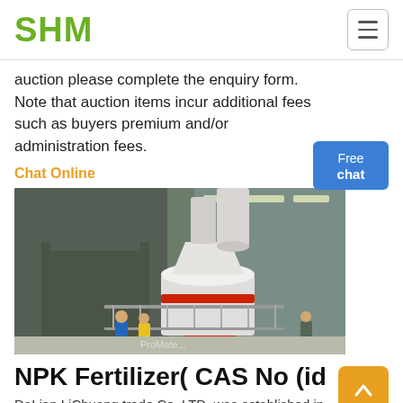SHM
auction please complete the enquiry form. Note that auction items incur additional fees such as buyers premium and/or administration fees.
Chat Online
[Figure (photo): Industrial factory interior with large white grinding/milling machine equipment, workers visible in foreground, large industrial building with steel structure.]
NPK Fertilizer( CAS No (id
DaLian LiChuang trade Co. LTD. was established in